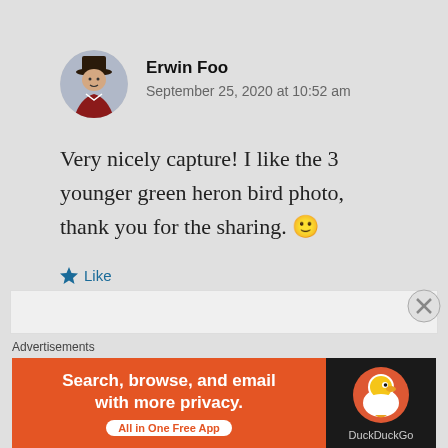[Figure (photo): Circular avatar of Erwin Foo showing a person in period costume with a top hat]
Erwin Foo
September 25, 2020 at 10:52 am
Very nicely capture! I like the 3 younger green heron bird photo, thank you for the sharing. 🙂
Like
Reply
Advertisements
[Figure (screenshot): DuckDuckGo advertisement banner: 'Search, browse, and email with more privacy. All in One Free App' with DuckDuckGo logo on dark background]